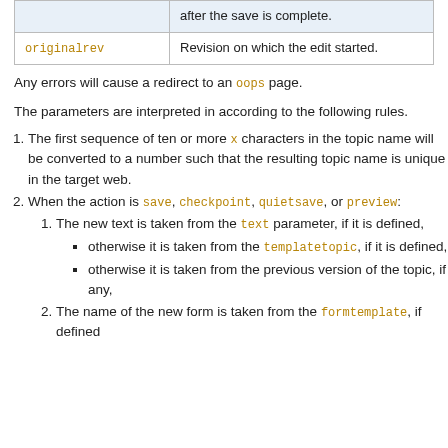|  |  |
| --- | --- |
|  | after the save is complete. |
| originalrev | Revision on which the edit started. |
Any errors will cause a redirect to an oops page.
The parameters are interpreted in according to the following rules.
1. The first sequence of ten or more x characters in the topic name will be converted to a number such that the resulting topic name is unique in the target web.
2. When the action is save, checkpoint, quietsave, or preview:
1. The new text is taken from the text parameter, if it is defined,
otherwise it is taken from the templatetopic, if it is defined,
otherwise it is taken from the previous version of the topic, if any,
2. The name of the new form is taken from the formtemplate, if defined